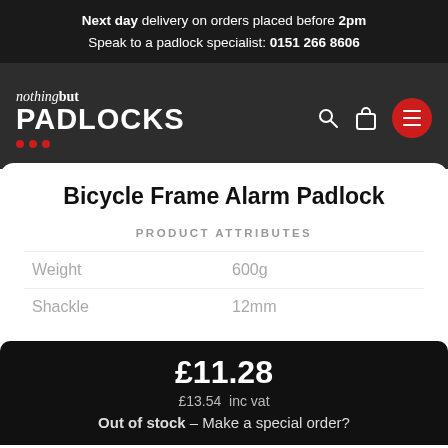Next day delivery on orders placed before 2pm
Speak to a padlock specialist: 0151 266 8606
[Figure (logo): Nothing but PADLOCKS logo in white on dark background with three red dots and navigation icons (search, bag, hamburger menu in red circle)]
Bicycle Frame Alarm Padlock
PRODUCT ATTRIBUTES
|  |  |
| --- | --- |
| Weight | 600g |
| Shackle | 12mm |
£11.28
£13.54 inc vat
Out of stock – Make a special order?